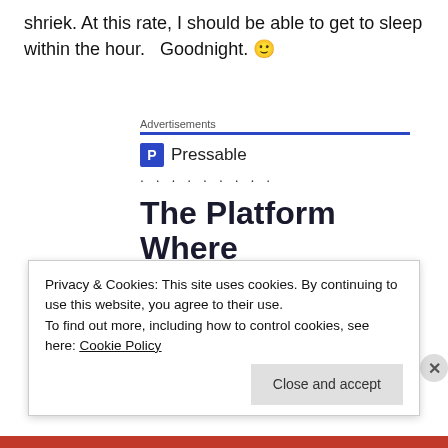shriek. At this rate, I should be able to get to sleep within the hour.   Goodnight. 🙂
[Figure (other): Pressable advertisement banner with logo, dots, headline 'The Platform Where WordPress Works Best', and 'SEE PRICING' button]
Privacy & Cookies: This site uses cookies. By continuing to use this website, you agree to their use.
To find out more, including how to control cookies, see here: Cookie Policy
Close and accept